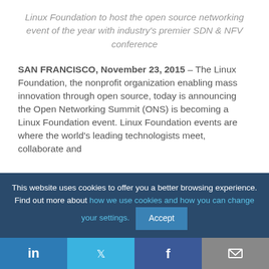Linux Foundation to host the open source networking event of the year with industry's premier SDN & NFV conference
SAN FRANCISCO, November 23, 2015 – The Linux Foundation, the nonprofit organization enabling mass innovation through open source, today is announcing the Open Networking Summit (ONS) is becoming a Linux Foundation event. Linux Foundation events are where the world's leading technologists meet, collaborate and
This website uses cookies to offer you a better browsing experience. Find out more about how we use cookies and how you can change your settings.